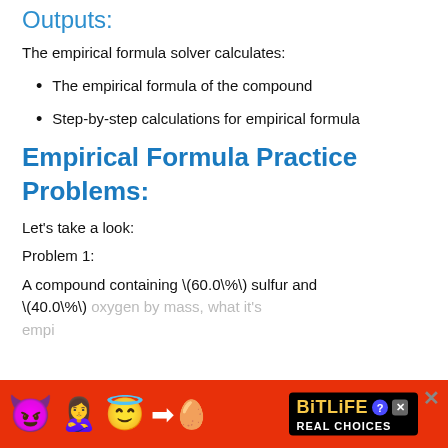Outputs:
The empirical formula solver calculates:
The empirical formula of the compound
Step-by-step calculations for empirical formula
Empirical Formula Practice Problems:
Let's take a look:
Problem 1:
A compound containing \(60.0\%\) sulfur and \(40.0\%\) oxygen by mass, what it's empirical
[Figure (other): Advertisement banner for BitLife game with emoji characters (devil, person, angel) on red background with BitLife logo and 'REAL CHOICES' text. Close button (X) on right side.]